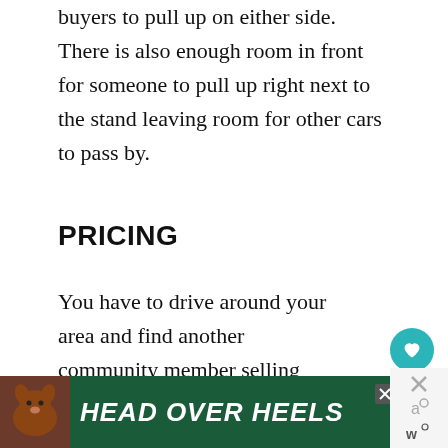buyers to pull up on either side. There is also enough room in front for someone to pull up right next to the stand leaving room for other cars to pass by.
PRICING
You have to drive around your area and find another community member selling eggs. Price them the same or lower. Don't go higher. Yes, there is a market of people w...
[Figure (infographic): Advertisement banner with green background showing a dog image on left and text 'HEAD OVER HEELS' in large white italic font. Close button (X) in top right corner of banner.]